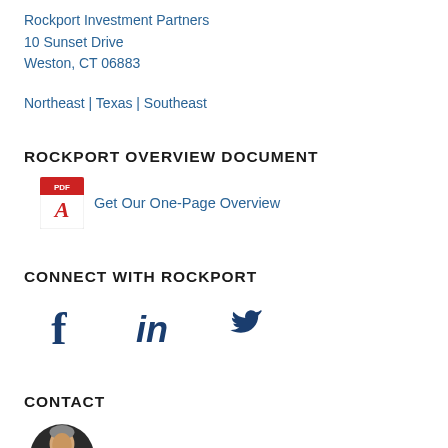Rockport Investment Partners
10 Sunset Drive
Weston, CT 06883
Northeast | Texas | Southeast
ROCKPORT OVERVIEW DOCUMENT
Get Our One-Page Overview
CONNECT WITH ROCKPORT
[Figure (other): Social media icons: Facebook, LinkedIn, Twitter]
CONTACT
[Figure (photo): Circular headshot photo of a man, partially visible at bottom of page]